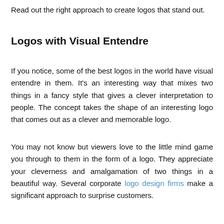Read out the right approach to create logos that stand out.
Logos with Visual Entendre
If you notice, some of the best logos in the world have visual entendre in them. It's an interesting way that mixes two things in a fancy style that gives a clever interpretation to people. The concept takes the shape of an interesting logo that comes out as a clever and memorable logo.
You may not know but viewers love to the little mind game you through to them in the form of a logo. They appreciate your cleverness and amalgamation of two things in a beautiful way. Several corporate logo design firms make a significant approach to surprise customers.